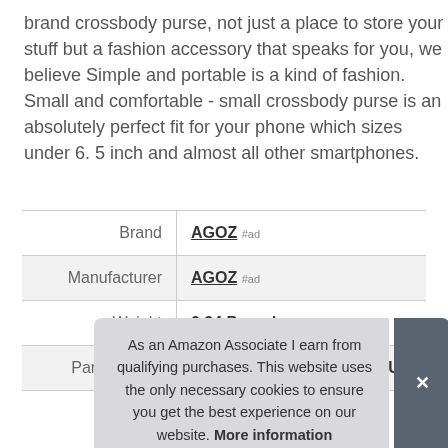brand crossbody purse, not just a place to store your stuff but a fashion accessory that speaks for you, we believe Simple and portable is a kind of fashion. Small and comfortable - small crossbody purse is an absolutely perfect fit for your phone which sizes under 6. 5 inch and almost all other smartphones.
|  |  |
| --- | --- |
| Brand | AGOZ #ad |
| Manufacturer | AGOZ #ad |
| Weight | 0.24 Pounds |
| Part Number | AGOZ-Crossbody-Bag-BLUE |
As an Amazon Associate I earn from qualifying purchases. This website uses the only necessary cookies to ensure you get the best experience on our website. More information